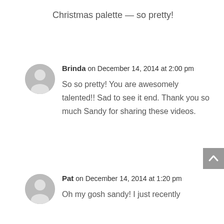Christmas palette — so pretty!
Brinda on December 14, 2014 at 2:00 pm
So so pretty! You are awesomely talented!! Sad to see it end. Thank you so much Sandy for sharing these videos.
Pat on December 14, 2014 at 1:20 pm
Oh my gosh sandy! I just recently